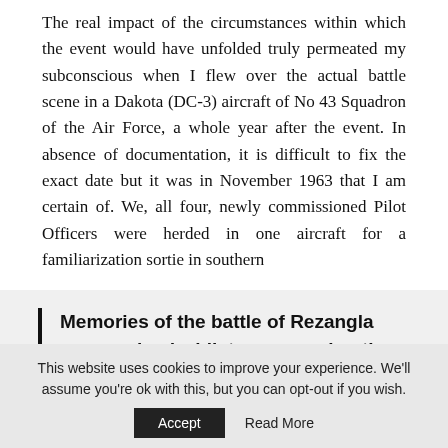The real impact of the circumstances within which the event would have unfolded truly permeated my subconscious when I flew over the actual battle scene in a Dakota (DC-3) aircraft of No 43 Squadron of the Air Force, a whole year after the event. In absence of documentation, it is difficult to fix the exact date but it was in November 1963 that I am certain of. We, all four, newly commissioned Pilot Officers were herded in one aircraft for a familiarization sortie in southern
Memories of the battle of Rezangla were revived whilst commencing the current disengagement at the Pangong Tso.
This website uses cookies to improve your experience. We'll assume you're ok with this, but you can opt-out if you wish.